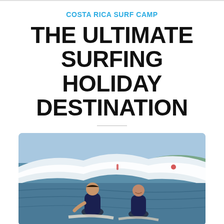COSTA RICA SURF CAMP
THE ULTIMATE SURFING HOLIDAY DESTINATION
[Figure (photo): Two surfers in wetsuits sitting on surfboards in the ocean with a large wave breaking behind them. The water is blue and the sky is bright.]
Nosara, Costa Rica: The Ultimate Holiday Travel Destination. What gift should you get